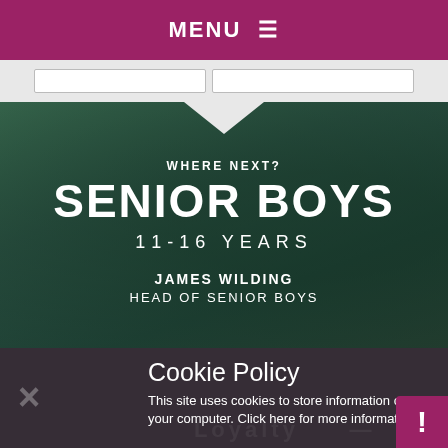MENU ☰
[Figure (screenshot): Screenshot of school website header with search boxes on gray background]
[Figure (photo): Dark green tinted photo of a student writing/studying, with text overlay: WHERE NEXT? SENIOR BOYS 11-16 YEARS / JAMES WILDING HEAD OF SENIOR BOYS]
WHERE NEXT?
SENIOR BOYS
11-16 YEARS
JAMES WILDING
HEAD OF SENIOR BOYS
Cookie Policy
This site uses cookies to store information on your computer. Click here for more information
Allow Cookies
Deny Cookies